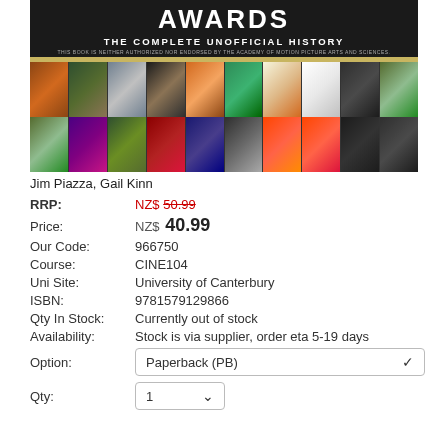[Figure (photo): Book cover for 'Awards: The Complete Unofficial History' with movie poster collage. Dark background with title text and two rows of movie poster thumbnails.]
Jim Piazza, Gail Kinn
| RRP: | NZ$ 50.99 |
| Price: | NZ$ 40.99 |
| Our Code: | 966750 |
| Course: | CINE104 |
| Uni Site: | University of Canterbury |
| ISBN: | 9781579129866 |
| Qty In Stock: | Currently out of stock |
| Availability: | Stock is via supplier, order eta 5-19 days |
| Option: | Paperback (PB) |
| Qty: | 1 |